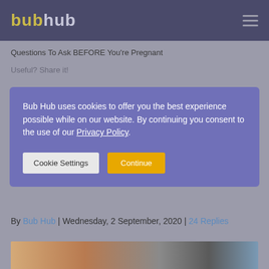bubhub
Questions To Ask BEFORE You're Pregnant
Useful? Share it!
Bub Hub uses cookies to offer you the best experience possible while on our website. By continuing you consent to the use of our Privacy Policy.
By Bub Hub | Wednesday, 2 September, 2020 | 24 Replies
[Figure (photo): Partial photo of a person at a desk with a keyboard and other office items]